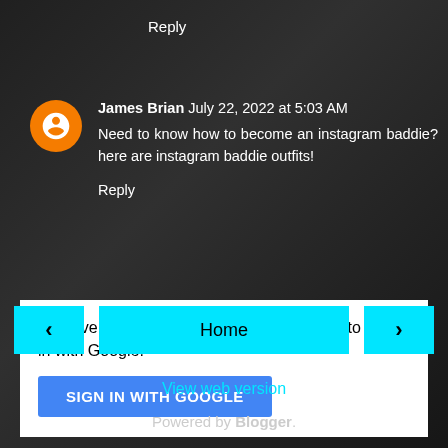Reply
James Brian July 22, 2022 at 5:03 AM
Need to know how to become an instagram baddie? here are instagram baddie outfits!
Reply
To leave a comment, click the button below to sign in with Google.
SIGN IN WITH GOOGLE
‹
Home
›
View web version
Powered by Blogger.